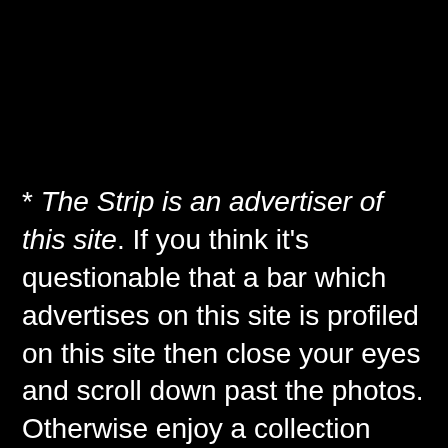* The Strip is an advertiser of this site. If you think it's questionable that a bar which advertises on this site is profiled on this site then close your eyes and scroll down past the photos. Otherwise enjoy a collection